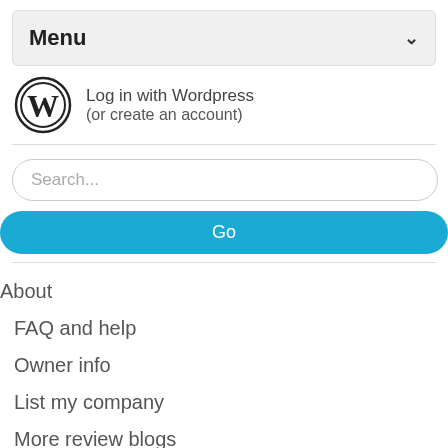Menu
Log in with Wordpress
(or create an account)
Search...
Go
About
FAQ and help
Owner info
List my company
More review blogs
Contact
Follow Escape The Review on Facebook for updates on new